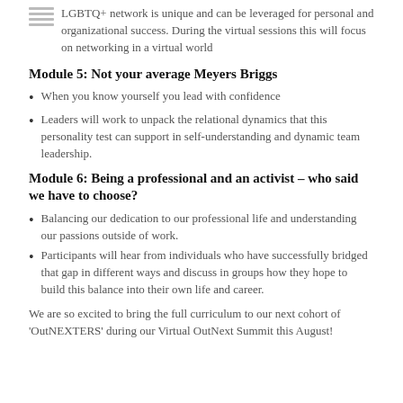LGBTQ+ network is unique and can be leveraged for personal and organizational success. During the virtual sessions this will focus on networking in a virtual world
Module 5: Not your average Meyers Briggs
When you know yourself you lead with confidence
Leaders will work to unpack the relational dynamics that this personality test can support in self-understanding and dynamic team leadership.
Module 6: Being a professional and an activist – who said we have to choose?
Balancing our dedication to our professional life and understanding our passions outside of work.
Participants will hear from individuals who have successfully bridged that gap in different ways and discuss in groups how they hope to build this balance into their own life and career.
We are so excited to bring the full curriculum to our next cohort of 'OutNEXTERS' during our Virtual OutNext Summit this August!